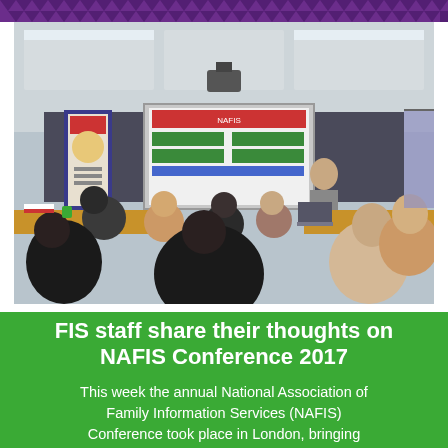[Figure (photo): A conference room scene showing attendees seated in rows facing a presenter at the front. A projection screen displays a colourful slide. A branded pull-up banner is visible on the left. The room has ceiling tiles and fluorescent lighting.]
FIS staff share their thoughts on NAFIS Conference 2017
This week the annual National Association of Family Information Services (NAFIS) Conference took place in London, bringing together Family Information Services (FIS) from